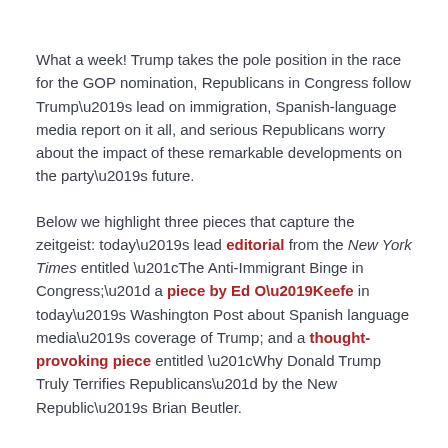What a week! Trump takes the pole position in the race for the GOP nomination, Republicans in Congress follow Trump's lead on immigration, Spanish-language media report on it all, and serious Republicans worry about the impact of these remarkable developments on the party's future.
Below we highlight three pieces that capture the zeitgeist: today's lead editorial from the New York Times entitled “The Anti-Immigrant Binge in Congress;” a piece by Ed O’Keefe in today’s Washington Post about Spanish language media’s coverage of Trump; and a thought-provoking piece entitled “Why Donald Trump Truly Terrifies Republicans” by the New Republic’s Brian Beutler.